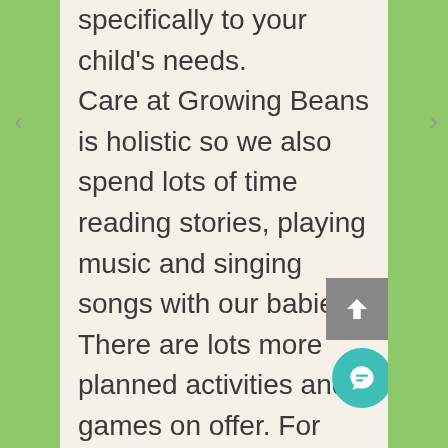specifically to your child's needs.
Care at Growing Beans is holistic so we also spend lots of time reading stories, playing music and singing songs with our babies. There are lots more planned activities and games on offer. For example, Spanish and a singing and action class run by adventure box. We follow different themes each month and do a wide range of arts and